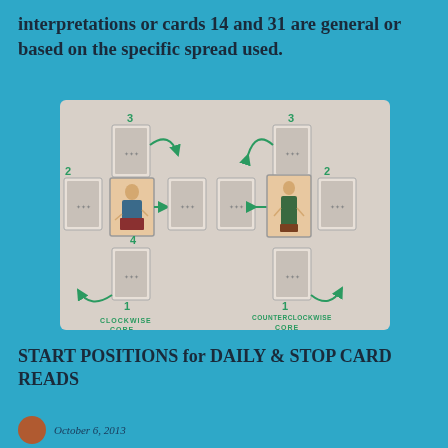interpretations or cards 14 and 31 are general or based on the specific spread used.
[Figure (photo): Photograph showing two tarot card spread layouts side by side on a light background. Left layout labeled 'CLOCKWISE CORE' with cards arranged in a cross/compass pattern numbered 1-4, with green arrows indicating clockwise direction, and a face card (figure seated) in the center. Right layout labeled 'COUNTERCLOCKWISE CORE' with similar card arrangement numbered 1-4, with green arrows indicating counterclockwise direction, and a different face card (standing figure) in the center. Numbers 3 appear at top of each layout, 2 at sides, 4 at bottom-center area, 1 at bottom.]
START POSITIONS for DAILY & STOP CARD READS
October 6, 2013